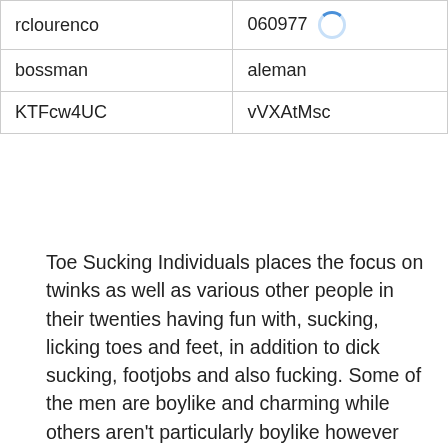| rclourenco | 060977 |
| bossman | aleman |
| KTFcw4UC | vVXAtMsc |
Toe Sucking Individuals places the focus on twinks as well as various other people in their twenties having fun with, sucking, licking toes and feet, in addition to dick sucking, footjobs and also fucking. Some of the men are boylike and charming while others aren't particularly boylike however most are still slim; there are also people with sports or specified bodies. A lot of the entertainers are smooth as well as clean-shaven, although there are a couple guys with facial hair, as well as you'll locate a number with tattoos or unshaven legs. A little over half of the video clips were recorded in the U.S. and also the other half were fired in